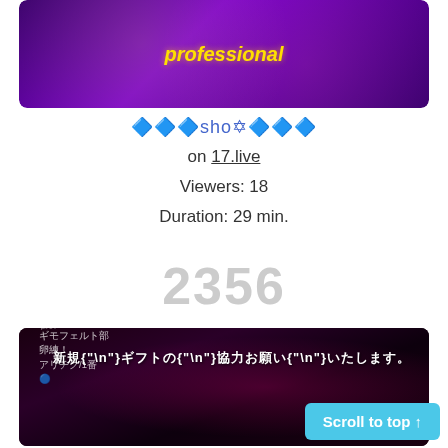[Figure (screenshot): Cropped top thumbnail image with purple glittery background and yellow text reading 'professional']
🔷🔷🔷sho✡🔷🔷🔷
on 17.live
Viewers: 18
Duration: 29 min.
2356
[Figure (photo): Dark photo of person with pink/purple lighting and Japanese text overlay about gifts and followers]
🔷🔷🔷chan🔷K-Ta🔷🔷
on 17.live
Scroll to top ↑